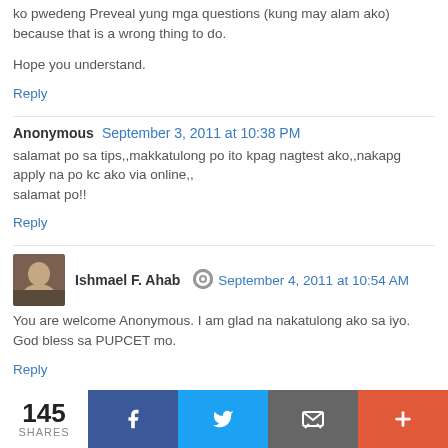ko pwedeng Preveal yung mga questions (kung may alam ako) because that is a wrong thing to do.
Hope you understand.
Reply
Anonymous  September 3, 2011 at 10:38 PM
salamat po sa tips,,makkatulong po ito kpag nagtest ako,,nakapg apply na po kc ako via online,,
salamat po!!
Reply
Ishmael F. Ahab  September 4, 2011 at 10:54 AM
You are welcome Anonymous. I am glad na nakatulong ako sa iyo. God bless sa PUPCET mo.
Reply
145 SHARES